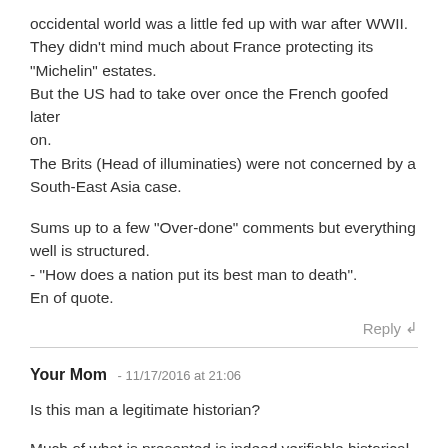occidental world was a little fed up with war after WWII. They didn't mind much about France protecting its "Michelin" estates.
But the US had to take over once the French goofed later on.
The Brits (Head of illuminaties) were not concerned by a South-East Asia case.

Sums up to a few "Over-done" comments but everything well is structured.
- "How does a nation put its best man to death".
En of quote.
Reply ↲
Your Mom - 11/17/2016 at 21:06
Is this man a legitimate historian?
Much of what is presented is indeed verifiable historical fact, however there remains some representations that I